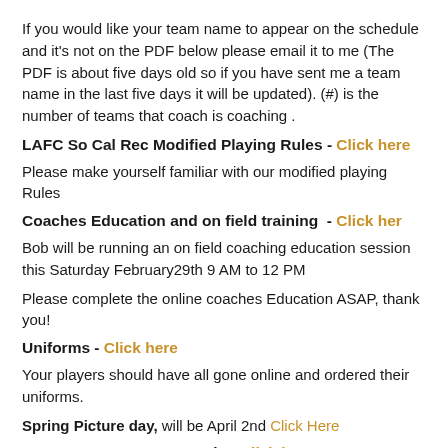If you would like your team name to appear on the schedule and it's not on the PDF below please email it to me (The PDF is about five days old so if you have sent me a team name in the last five days it will be updated). (#) is the number of teams that coach is coaching .
LAFC So Cal Rec Modified Playing Rules - Click here
Please make yourself familiar with our modified playing Rules
Coaches Education and on field training  - Click her
Bob will be running an on field coaching education session this Saturday February29th 9 AM to 12 PM
Please complete the online coaches Education ASAP, thank you!
Uniforms - Click here
Your players should have all gone online and ordered their uniforms.
Spring Picture day, will be April 2nd Click Here
Game Day COVID protocols - Click here
This is game day best practice there is a new LA health